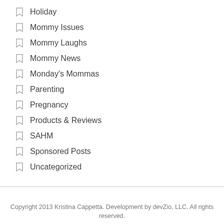Holiday
Mommy Issues
Mommy Laughs
Mommy News
Monday's Mommas
Parenting
Pregnancy
Products & Reviews
SAHM
Sponsored Posts
Uncategorized
Copyright 2013 Kristina Cappetta. Development by devZio, LLC. All rights reserved.